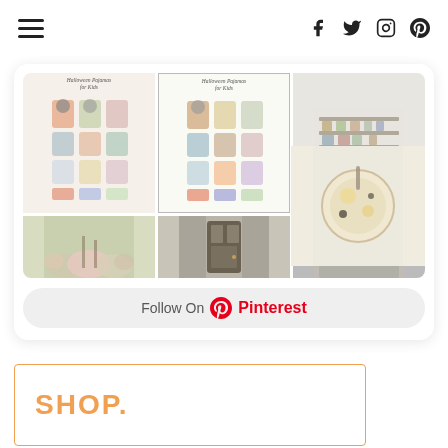Navigation menu and social icons (Facebook, Twitter, Instagram, Pinterest)
[Figure (screenshot): Pinterest widget showing a grid of pinned images including Halloween Pajamas for Kids, kitchen shelving, soup bowl, flowers, and a doorway, with a Follow On Pinterest button]
[Figure (screenshot): Shop section card with the word SHOP. in orange text]